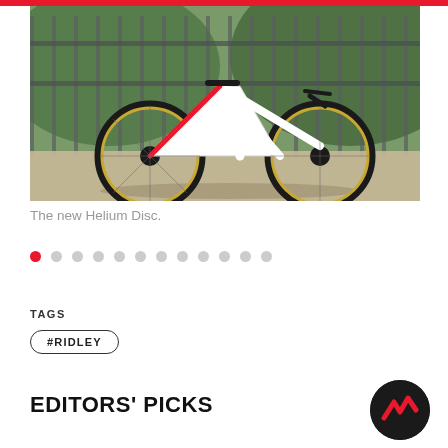[Figure (photo): A white and red road bike (Helium Disc) leaning against metal railings with green hills in background]
The new Helium Disc.
[Figure (other): Carousel pagination dots, first dot active (red), followed by 11 grey dots]
TAGS
#RIDLEY
EDITORS' PICKS
[Figure (logo): Circular dark logo with red zigzag/mountain shape]